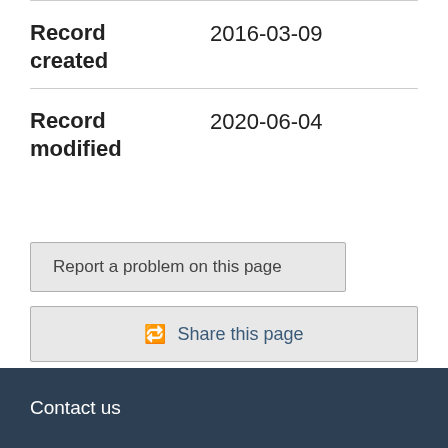| Field | Value |
| --- | --- |
| Record created | 2016-03-09 |
| Record modified | 2020-06-04 |
Report a problem on this page
Share this page
Date modified: 2022-09-02
Contact us